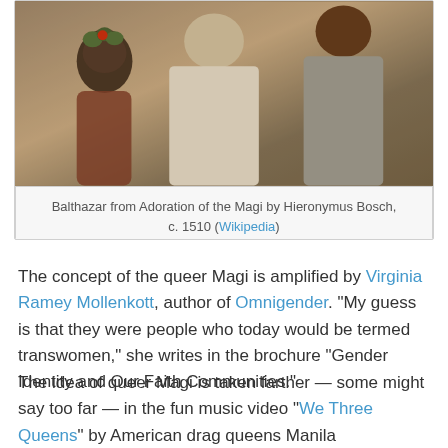[Figure (photo): Painting detail showing figures from Adoration of the Magi by Hieronymus Bosch, c. 1510 — includes a dark-skinned figure with foliage and pomegranate headdress and robed figures]
Balthazar from Adoration of the Magi by Hieronymus Bosch, c. 1510 (Wikipedia)
The concept of the queer Magi is amplified by Virginia Ramey Mollenkott, author of Omnigender. “My guess is that they were people who today would be termed transwomen,” she writes in the brochure “Gender Identity and Our Faith Communities.”
The idea of queer Magi is taken farther — some might say too far — in the fun music video “We Three Queens” by American drag queens Manila